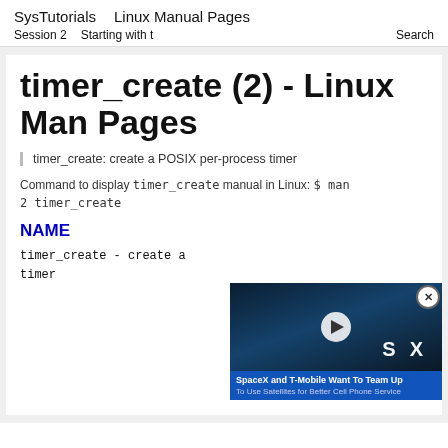SysTutorials   Linux Manual Pages
Session 2   Starting with t   Search
timer_create (2) - Linux Man Pages
timer_create: create a POSIX per-process timer
Command to display timer_create manual in Linux: $ man 2 timer_create
NAME
timer_create - create a POSIX per-process timer